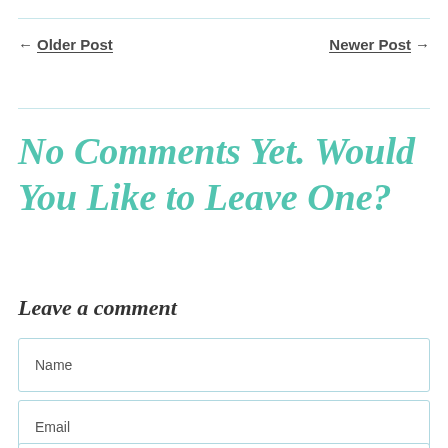← Older Post
Newer Post →
No Comments Yet. Would You Like to Leave One?
Leave a comment
Name
Email